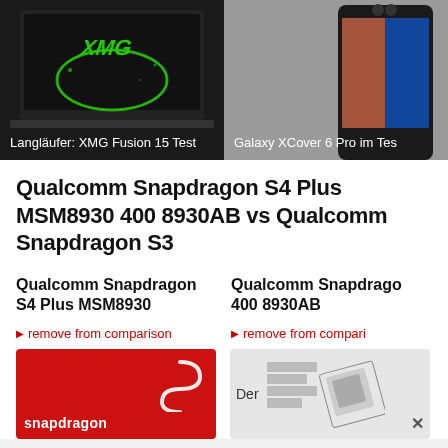[Figure (photo): Laptop with XMG logo on screen against dark background]
Langläufer: XMG Fusion 15 Test
[Figure (photo): Samsung Galaxy XCover 6 Pro smartphone]
Galaxy XCover 6 Pro im Test
Qualcomm Snapdragon S4 Plus MSM8930 400 8930AB vs Qualcomm Snapdragon S3
Qualcomm Snapdragon S4 Plus MSM8930
Qualcomm Snapdragon 400 8930AB
remove from comparison
remove from comparison
[Figure (photo): Qualcomm Snapdragon red logo card]
[Figure (photo): Qualcomm chip architecture diagram with text Der]